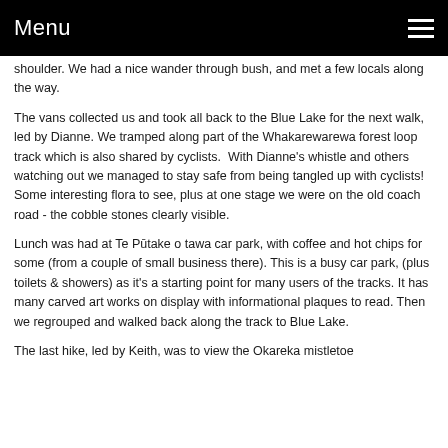Menu
shoulder. We had a nice wander through bush, and met a few locals along the way.
The vans collected us and took all back to the Blue Lake for the next walk, led by Dianne. We tramped along part of the Whakarewarewa forest loop track which is also shared by cyclists.  With Dianne's whistle and others watching out we managed to stay safe from being tangled up with cyclists! Some interesting flora to see, plus at one stage we were on the old coach road - the cobble stones clearly visible.
Lunch was had at Te Pūtake o tawa car park, with coffee and hot chips for some (from a couple of small business there). This is a busy car park, (plus toilets & showers) as it's a starting point for many users of the tracks. It has many carved art works on display with informational plaques to read. Then we regrouped and walked back along the track to Blue Lake.
The last hike, led by Keith, was to view the Okareka mistletoe